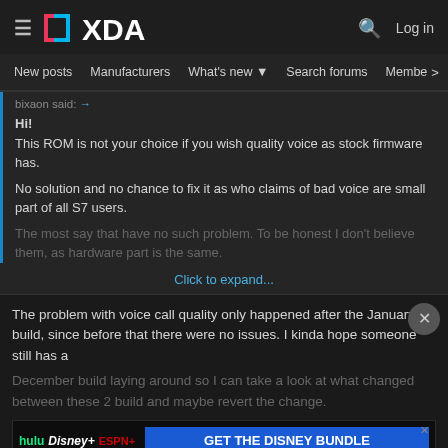XDA Developers — New posts | Manufacturers | What's new | Search forums | Members
bixaon said: →

Hi!
This ROM is not your choice if you wish quality voice as stock firmware has.

No solution and no chance to fix it as who claims of bad voice are small part of all S7 users.
The most say that have no such problem. To be honest I don't believe them, as hardware part is the same.
Click to expand...
The problem with voice call quality only happened after the January build, since before that there were no issues. I kinda hope someone still has a December build laying around so I can take a look at what changed between those 2 build and maybe revert the change.
[Figure (other): Disney Bundle advertisement banner with Hulu, Disney+, ESPN+ logos and GET THE DISNEY BUNDLE call to action]
It's sad t... ...stic.